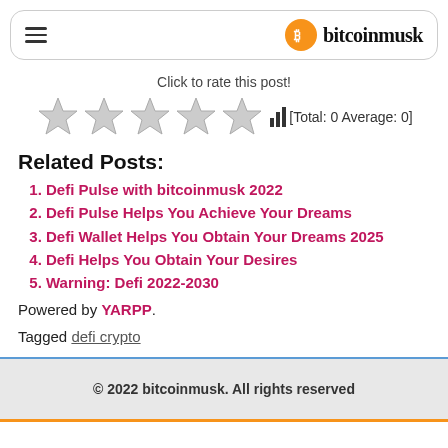bitcoinmusk
Click to rate this post! [Total: 0 Average: 0]
Related Posts:
Defi Pulse with bitcoinmusk 2022
Defi Pulse Helps You Achieve Your Dreams
Defi Wallet Helps You Obtain Your Dreams 2025
Defi Helps You Obtain Your Desires
Warning: Defi 2022-2030
Powered by YARPP.
Tagged defi crypto
© 2022 bitcoinmusk. All rights reserved